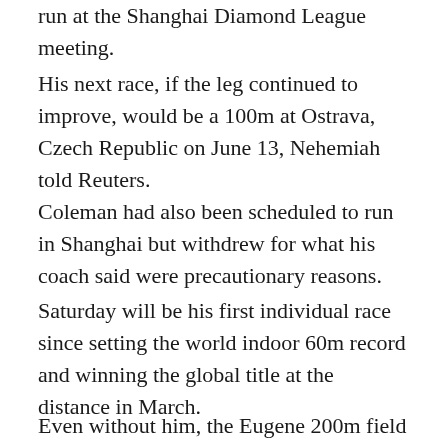run at the Shanghai Diamond League meeting.
His next race, if the leg continued to improve, would be a 100m at Ostrava, Czech Republic on June 13, Nehemiah told Reuters.
Coleman had also been scheduled to run in Shanghai but withdrew for what his coach said were precautionary reasons.
Saturday will be his first individual race since setting the world indoor 60m record and winning the global title at the distance in March.
Even without him, the Eugene 200m field will be an